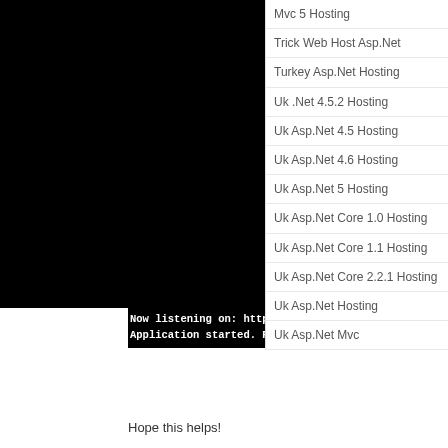[Figure (screenshot): Black terminal/console window screenshot showing application startup output]
Now listening on: http://localhost:32661
Application started. Press Ctrl+C to shut do
Mvc 5 Hosting
Trick Web Host Asp.Net
Turkey Asp.Net Hosting
Uk .Net 4.5.2 Hosting
Uk Asp.Net 4.5 Hosting
Uk Asp.Net 4.6 Hosting
Uk Asp.Net 5 Hosting
Uk Asp.Net Core 1.0 Hosting
Uk Asp.Net Core 1.1 Hosting
Uk Asp.Net Core 2.2.1 Hosting
Uk Asp.Net Hosting
Uk Asp.Net Mvc
Hope this helps!